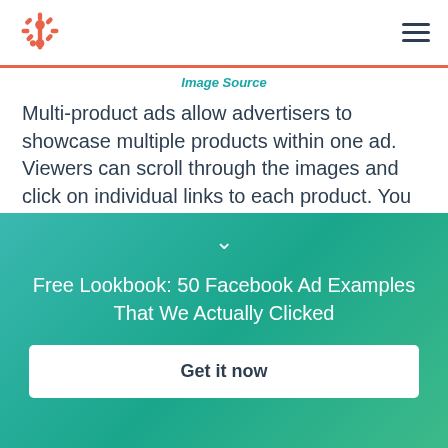[Figure (logo): HubSpot logo (orange sprocket icon) in top left header]
Image Source
Multi-product ads allow advertisers to showcase multiple products within one ad. Viewers can scroll through the images and click on individual links to each product. You can promote multiple of anything, not just products — like different blog posts, ebooks, or webinars. These ads can be created in the Facebook
Free Lookbook: 50 Facebook Ad Examples That We Actually Clicked
Get it now